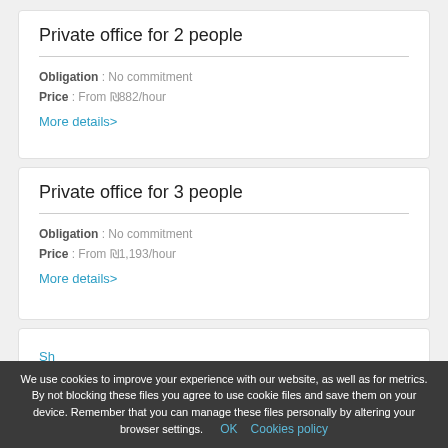Private office for 2 people
Obligation : No commitment
Price : From ₪882/hour
More details>
Private office for 3 people
Obligation : No commitment
Price : From ₪1,193/hour
More details>
We use cookies to improve your experience with our website, as well as for metrics. By not blocking these files you agree to use cookie files and save them on your device. Remember that you can manage these files personally by altering your browser settings. OK  Cookies policy